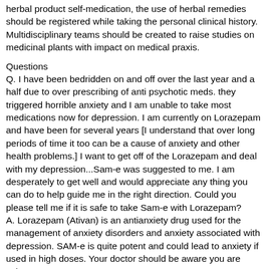herbal product self-medication, the use of herbal remedies should be registered while taking the personal clinical history. Multidisciplinary teams should be created to raise studies on medicinal plants with impact on medical praxis.
Questions
Q. I have been bedridden on and off over the last year and a half due to over prescribing of anti psychotic meds. they triggered horrible anxiety and I am unable to take most medications now for depression. I am currently on Lorazepam and have been for several years [I understand that over long periods of time it too can be a cause of anxiety and other health problems.] I want to get off of the Lorazepam and deal with my depression...Sam-e was suggested to me. I am desperately to get well and would appreciate any thing you can do to help guide me in the right direction. Could you please tell me if it is safe to take Sam-e with Lorazepam?
   A. Lorazepam (Ativan) is an antianxiety drug used for the management of anxiety disorders and anxiety associated with depression. SAM-e is quite potent and could lead to anxiety if used in high doses. Your doctor should be aware you are using SAM-e.
Q. Is there any problem taking 5HTP with lorazepam?